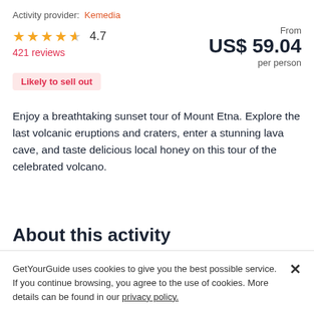Activity provider: Kemedia
★★★★½ 4.7
421 reviews
From US$ 59.04 per person
Likely to sell out
Enjoy a breathtaking sunset tour of Mount Etna. Explore the last volcanic eruptions and craters, enter a stunning lava cave, and taste delicious local honey on this tour of the celebrated volcano.
About this activity
GetYourGuide uses cookies to give you the best possible service. If you continue browsing, you agree to the use of cookies. More details can be found in our privacy policy.